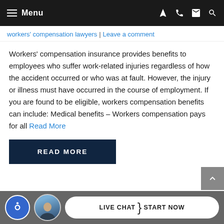Menu
workers' compensation lawyers | Leave a comment
Workers' compensation insurance provides benefits to employees who suffer work-related injuries regardless of how the accident occurred or who was at fault. However, the injury or illness must have occurred in the course of employment. If you are found to be eligible, workers compensation benefits can include: Medical benefits – Workers compensation pays for all Read More
READ MORE
LIVE CHAT | START NOW